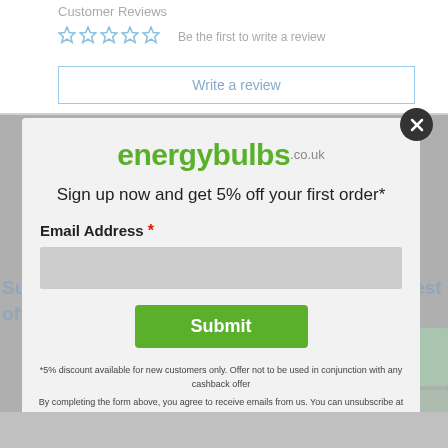Customer Reviews
Be the first to write a review
Write a review
[Figure (screenshot): energybulbs.co.uk logo with green bold text]
Sign up now and get 5% off your first order*
Email Address *
Submit
*5% discount available for new customers only. Offer not to be used in conjunction with any cashback offer
By completing the form above, you agree to receive emails from us. You can unsubscribe at any time